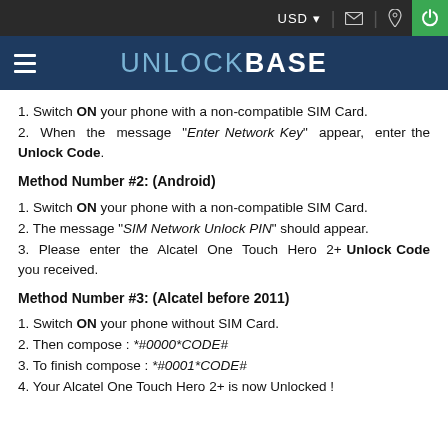USD  [mail icon]  [location icon]  [power icon]
UNLOCKBASE
1. Switch ON your phone with a non-compatible SIM Card.
2. When the message "Enter Network Key" appear, enter the Unlock Code.
Method Number #2: (Android)
1. Switch ON your phone with a non-compatible SIM Card.
2. The message "SIM Network Unlock PIN" should appear.
3. Please enter the Alcatel One Touch Hero 2+ Unlock Code you received.
Method Number #3: (Alcatel before 2011)
1. Switch ON your phone without SIM Card.
2. Then compose : *#0000*CODE#
3. To finish compose : *#0001*CODE#
4. Your Alcatel One Touch Hero 2+ is now Unlocked !